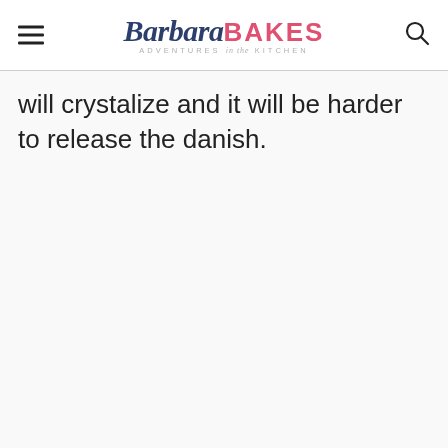Barbara BAKES – ADVENTURES in the KITCHEN
will crystalize and it will be harder to release the danish.